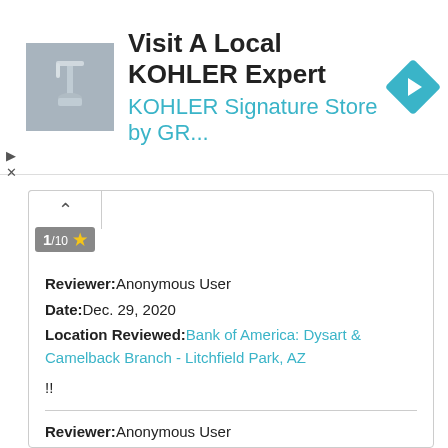[Figure (illustration): Advertisement banner: KOHLER Signature Store. Thumbnail image of a faucet/sink product on gray background. Text: 'Visit A Local KOHLER Expert' and 'KOHLER Signature Store by GR...' with a blue navigation arrow diamond icon. Small play and X controls at left.]
1/10 ★
Reviewer: Anonymous User
Date: Dec. 29, 2020
Location Reviewed: Bank of America: Dysart & Camelback Branch - Litchfield Park, AZ
!!
Reviewer: Anonymous User
Date: Dec. 23, 2020
Location Reviewed: Bank of America: Cedar And Shields Branch - Fresno, CA
Why was the lobby closed Dec 22? Was this just for today?